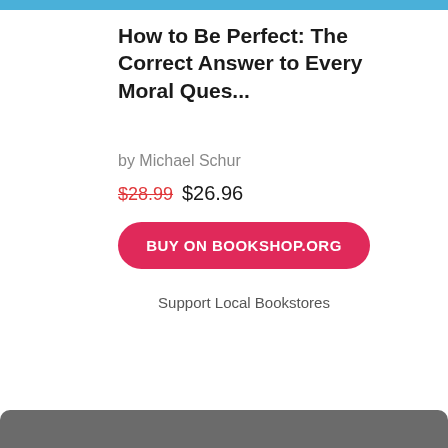How to Be Perfect: The Correct Answer to Every Moral Ques...
by Michael Schur
$28.99 $26.96
BUY ON BOOKSHOP.ORG
Support Local Bookstores